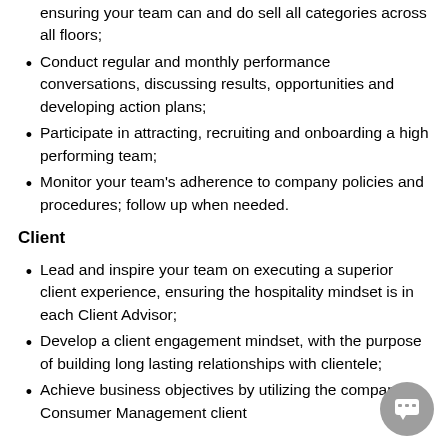ensuring your team can and do sell all categories across all floors;
Conduct regular and monthly performance conversations, discussing results, opportunities and developing action plans;
Participate in attracting, recruiting and onboarding a high performing team;
Monitor your team's adherence to company policies and procedures; follow up when needed.
Client
Lead and inspire your team on executing a superior client experience, ensuring the hospitality mindset is in each Client Advisor;
Develop a client engagement mindset, with the purpose of building long lasting relationships with clientele;
Achieve business objectives by utilizing the company Consumer Management client